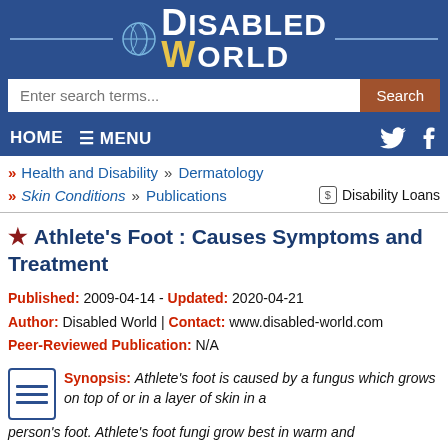Disabled World
Enter search terms... Search
HOME ☰ MENU
» Health and Disability » Dermatology
» Skin Conditions » Publications   Disability Loans
★ Athlete's Foot : Causes Symptoms and Treatment
Published: 2009-04-14 - Updated: 2020-04-21
Author: Disabled World | Contact: www.disabled-world.com
Peer-Reviewed Publication: N/A
Synopsis: Athlete's foot is caused by a fungus which grows on top of or in a layer of skin in a person's foot. Athlete's foot fungi grow best in warm and